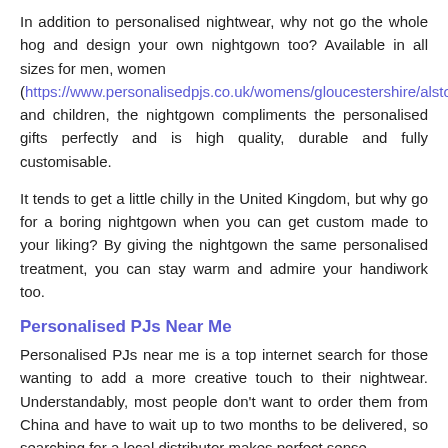In addition to personalised nightwear, why not go the whole hog and design your own nightgown too? Available in all sizes for men, women (https://www.personalisedpjs.co.uk/womens/gloucestershire/alstone/) and children, the nightgown compliments the personalised gifts perfectly and is high quality, durable and fully customisable.
It tends to get a little chilly in the United Kingdom, but why go for a boring nightgown when you can get custom made to your liking? By giving the nightgown the same personalised treatment, you can stay warm and admire your handiwork too.
Personalised PJs Near Me
Personalised PJs near me is a top internet search for those wanting to add a more creative touch to their nightwear. Understandably, most people don't want to order them from China and have to wait up to two months to be delivered, so searching for a local distributor makes perfect sense.
Our personalised pyjamas in Alstone GL51 8 will be produced and shipped to you quickly from the UK. No need to worry about